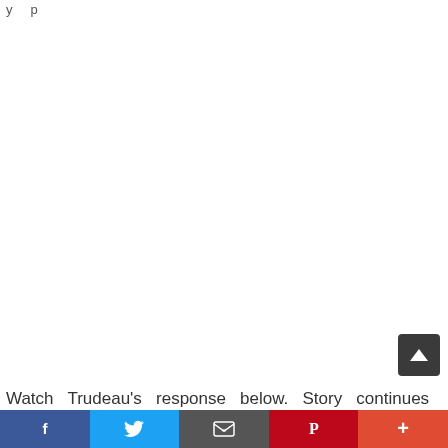y p
Watch Trudeau's response below. Story continues
[Figure (screenshot): Social sharing bar with Facebook, Twitter, Email, Pinterest, and More buttons at the bottom of a webpage, plus a scroll-to-top button]
Social share bar: Facebook, Twitter, Email, Pinterest, More